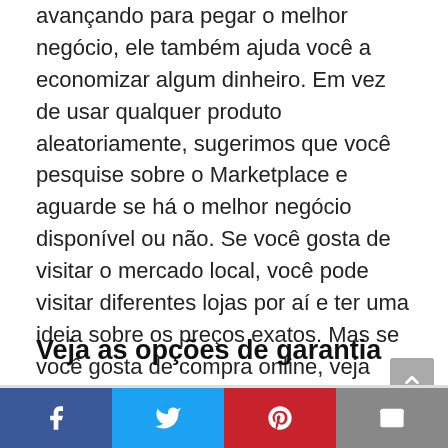avançando para pegar o melhor negócio, ele também ajuda você a economizar algum dinheiro. Em vez de usar qualquer produto aleatoriamente, sugerimos que você pesquise sobre o Marketplace e aguarde se há o melhor negócio disponível ou não. Se você gosta de visitar o mercado local, você pode visitar diferentes lojas por aí e ter uma ideia sobre os preços exatos. Mas se você gosta de compra online, veja todos os descontos. Às vezes na época festiva também, você terá algum desconto no Tom Of Finland perfeito, planeje-o de acordo, e depois faça a compra certa.
Veja as opções de garantia